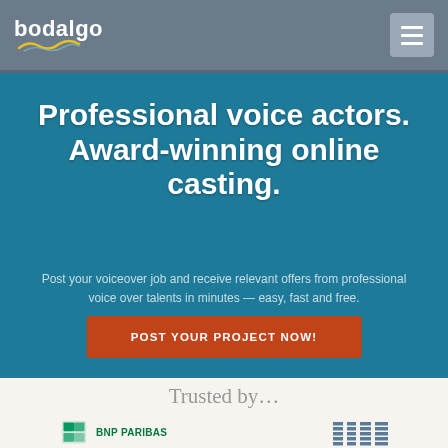bodalgo
Professional voice actors. Award-winning online casting.
Post your voiceover job and receive relevant offers from professional voice over talents in minutes — easy, fast and free.
POST YOUR PROJECT NOW!
Trusted by…
[Figure (logo): BNP Paribas logo]
[Figure (logo): IBM logo]